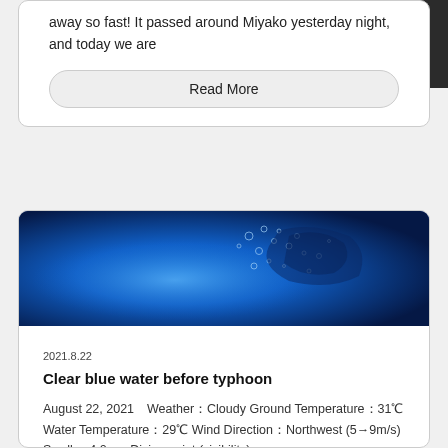away so fast! It passed around Miyako yesterday night, and today we are
Read More
[Figure (photo): Underwater photograph showing clear blue water with bubbles rising, taken before a typhoon. Deep blue tones dominate the image.]
2021.8.22
Clear blue water before typhoon
August 22, 2021　Weather：Cloudy Ground Temperature：31℃  Water Temperature：29℃  Wind Direction：Northwest (5→9m/s)  Swell： 4.0m　Diving point (visibility)